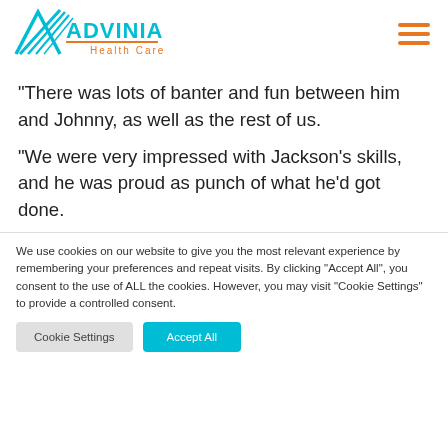[Figure (logo): Advinia Health Care logo with cyan geometric lines and orange text]
“There was lots of banter and fun between him and Johnny, as well as the rest of us.
“We were very impressed with Jackson’s skills, and he was proud as punch of what he'd got done.
We use cookies on our website to give you the most relevant experience by remembering your preferences and repeat visits. By clicking “Accept All”, you consent to the use of ALL the cookies. However, you may visit "Cookie Settings" to provide a controlled consent.